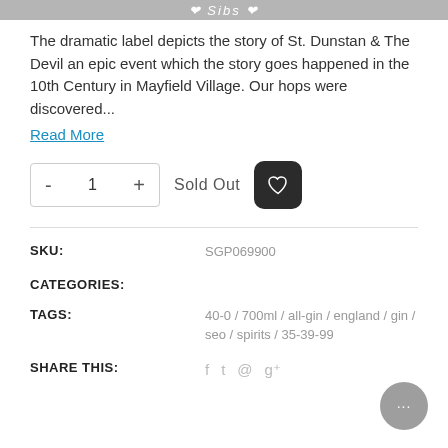Sibs
The dramatic label depicts the story of St. Dunstan & The Devil an epic event which the story goes happened in the 10th Century in Mayfield Village. Our hops were discovered...
Read More
- 1 +  Sold Out
SKU: SGP069900
CATEGORIES:
TAGS: 40-0 / 700ml / all-gin / england / gin / seo / spirits / 35-39-99
SHARE THIS: f  y  @  g+